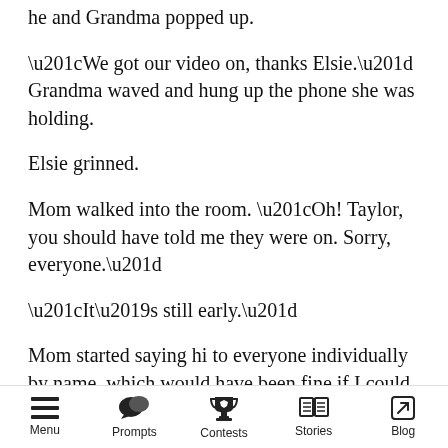he and Grandma popped up.
“We got our video on, thanks Elsie.” Grandma waved and hung up the phone she was holding.
Elsie grinned.
Mom walked into the room. “Oh! Taylor, you should have told me they were on. Sorry, everyone.”
“It’s still early.”
Mom started saying hi to everyone individually by name, which would have been fine if I could have walked away, but we all waited while my mother caught up with everyone publicly.
Menu  Prompts  Contests  Stories  Blog